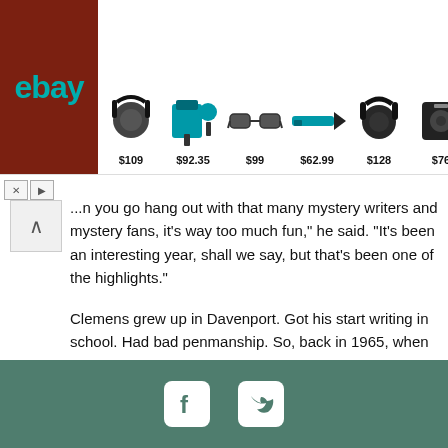[Figure (other): eBay advertisement banner showing headphones ($109), tool set ($92.35), sunglasses ($99), tool ($62.99), headphones ($128), and speaker ($76)]
...n you go hang out with that many mystery writers and mystery fans, it's way too much fun," he said. "It's been an interesting year, shall we say, but that's been one of the highlights."
Clemens grew up in Davenport. Got his start writing in school. Had bad penmanship. So, back in 1965, when he was in third grade, his teacher started giving him writing assignments at home. Took him too long to copy the stuff he was given, so he started making up his own stories. Found he could do it a lot faster.
Social media icons: Facebook, Twitter